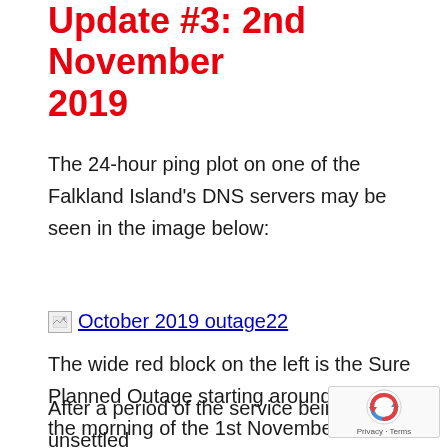Update #3: 2nd November 2019
The 24-hour ping plot on one of the Falkland Island's DNS servers may be seen in the image below:
[Figure (other): Broken image placeholder with alt text 'October 2019 outage22']
The wide red block on the left is the Sure Planned Outage starting around 07:00 on the morning of the 1st November intended to be used to correct the fault and restore satellite capacity back to 'normal'.
After a period of the service being unsettled